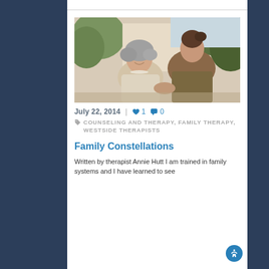[Figure (photo): Two women — an older woman with gray curly hair wearing a cream cardigan and pearl necklace, and a younger woman with brown hair in a bun wearing an olive/brown top — sitting outdoors, smiling and holding hands.]
July 22, 2014   ♥ 1   💬 0
COUNSELING AND THERAPY, FAMILY THERAPY, WESTSIDE THERAPISTS
Family Constellations
Written by therapist Annie Hutt I am trained in family systems and I have learned to see